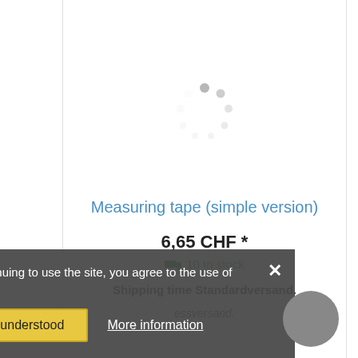[Figure (illustration): Loading spinner made of grey dots arranged in a circle, indicating content is loading]
Measuring tape (simple version)
6,65 CHF *
10 In stock
Shipping time Standardversand.
By continuing to use the site, you agree to the use of cookies.
Ok, understood
More information